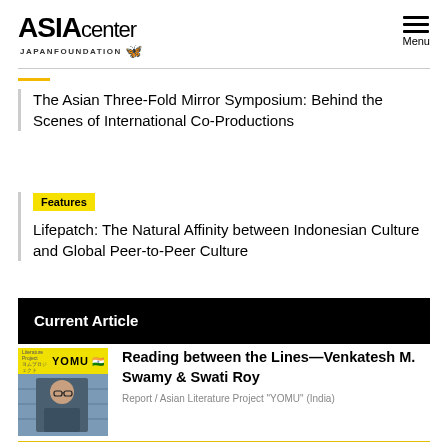[Figure (logo): ASIA center Japan Foundation logo with butterfly icon]
The Asian Three-Fold Mirror Symposium: Behind the Scenes of International Co-Productions
[Figure (logo): Features badge (yellow highlight)]
Lifepatch: The Natural Affinity between Indonesian Culture and Global Peer-to-Peer Culture
Current Article
[Figure (photo): Thumbnail image for YOMU article with person photo and Indian flag]
Reading between the Lines—Venkatesh M. Swamy & Swati Roy
Report / Asian Literature Project "YOMU" (India)